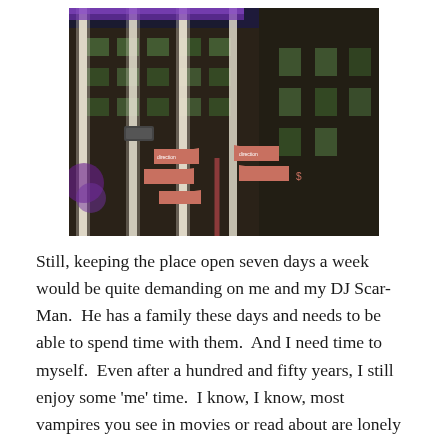[Figure (photo): Nighttime photo of a tall multi-story building with illuminated white vertical columns and purple accent lighting at the top. In the foreground, a directional street signpost with multiple arrow signs pointing in different directions.]
Still, keeping the place open seven days a week would be quite demanding on me and my DJ Scar-Man.  He has a family these days and needs to be able to spend time with them.  And I need time to myself.  Even after a hundred and fifty years, I still enjoy some 'me' time.  I know, I know, most vampires you see in movies or read about are lonely